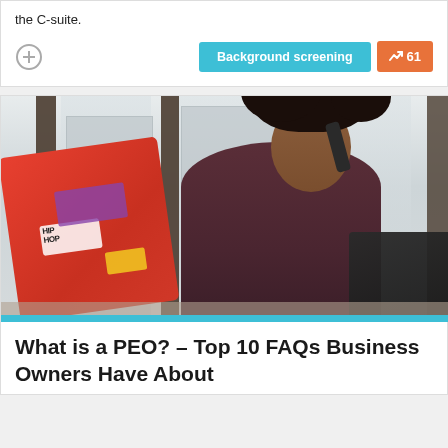the C-suite.
[Figure (screenshot): Button row with a plus/add icon, a teal 'Background screening' button, and an orange trending button showing '61']
[Figure (photo): Photo of a young Black woman with curly hair sitting at a desk, smiling and talking on a phone, with a colorful sticker-covered laptop in front of her and a window with blinds in the background]
What is a PEO? – Top 10 FAQs Business Owners Have About